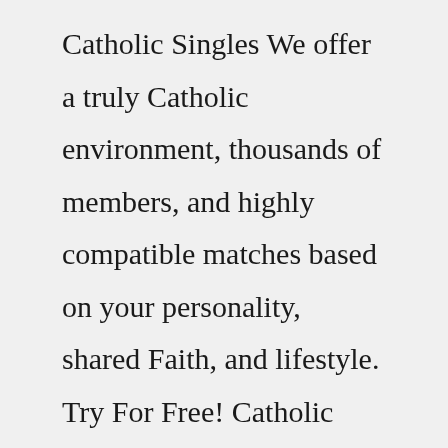Catholic Singles We offer a truly Catholic environment, thousands of members, and highly compatible matches based on your personality, shared Faith, and lifestyle. Try For Free! Catholic Singles For You. Richard 55 Somerset, MA Karen 66 Folly Beach, SC Ekay 32 Taguig, PH Cristina 73 Los Angeles, CA Kevin 32 Ostend, BE DariaJul 01, 2010 · CatholicMatch.com is the largest online community for Catholic singles seeking connections, friendships, and living...